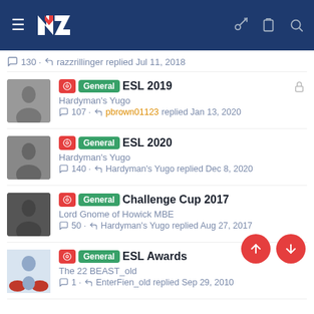NZ Rugby League Forum navigation bar
130 · razzrillinger replied Jul 11, 2018
General ESL 2019 — Hardyman's Yugo — 107 · pbrown01123 replied Jan 13, 2020
General ESL 2020 — Hardyman's Yugo — 140 · Hardyman's Yugo replied Dec 8, 2020
General Challenge Cup 2017 — Lord Gnome of Howick MBE — 50 · Hardyman's Yugo replied Aug 27, 2017
General ESL Awards — The 22 BEAST_old — 1 · EnterFien_old replied Sep 29, 2010